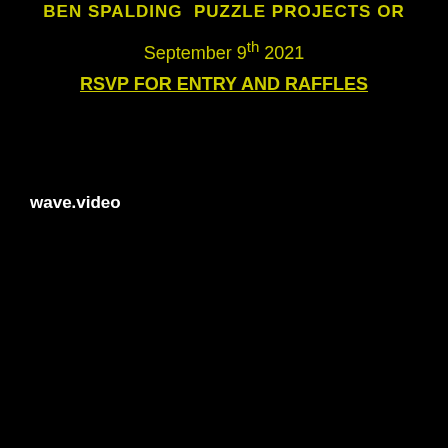BEN SPALDING  PUZZLE PROJECTS OR
September 9th 2021
RSVP FOR ENTRY AND RAFFLES
wave.video